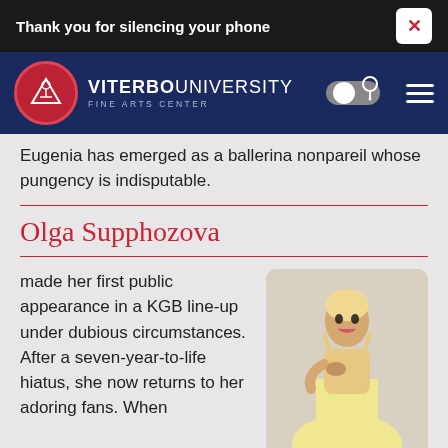Thank you for silencing your phone
[Figure (logo): Viterbo University Fine Arts Center logo with navigation bar]
Eugenia has emerged as a ballerina nonpareil whose pungency is indisputable.
Olga Supphozova
made her first public appearance in a KGB line-up under dubious circumstances. After a seven-year-to-life hiatus, she now returns to her adoring fans. When
[Figure (photo): Woman in yellow/cream ballerina dress with blonde hair, hand on chest, posing]